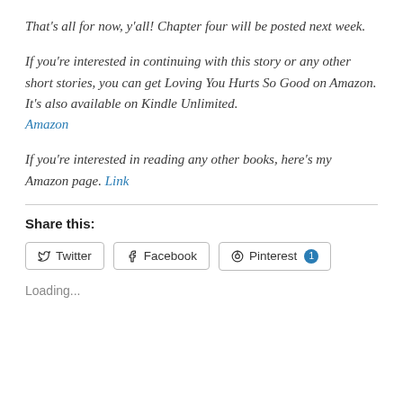That's all for now, y'all! Chapter four will be posted next week.
If you're interested in continuing with this story or any other short stories, you can get Loving You Hurts So Good on Amazon. It's also available on Kindle Unlimited.
Amazon
If you're interested in reading any other books, here's my Amazon page. Link
Share this:
Twitter  Facebook  Pinterest 1
Loading...